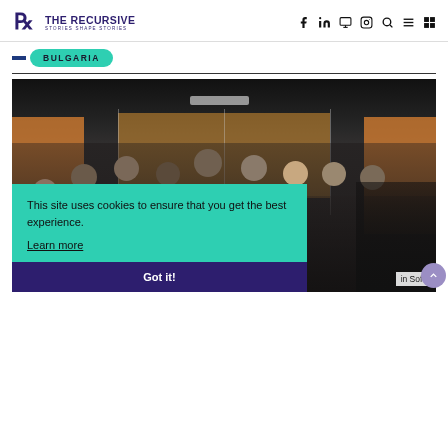THE RECURSIVE — Stories Shape Stories
BULGARIA
[Figure (photo): Group photo of approximately 13 people standing together in a modern office space with orange-lit glass panels in the background. Both men and women are present.]
This site uses cookies to ensure that you get the best experience.
Learn more
Got it!
in Sofia